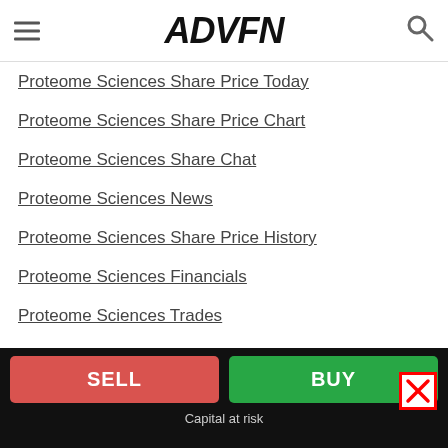ADVFN
Proteome Sciences Share Price Today
Proteome Sciences Share Price Chart
Proteome Sciences Share Chat
Proteome Sciences News
Proteome Sciences Share Price History
Proteome Sciences Financials
Proteome Sciences Trades
Proteome Sciences Level 2
Add Proteome Sciences to Watchlist
Add Proteome Sciences to your Portfolio
SELL | BUY | Capital at risk